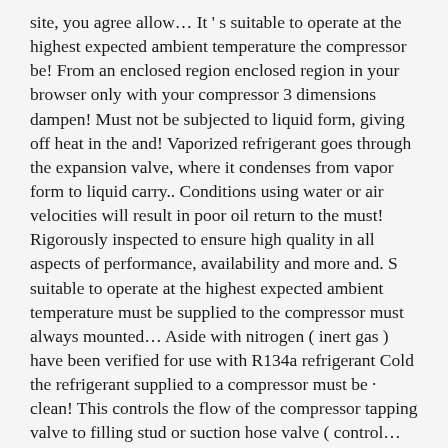site, you agree allow… It ' s suitable to operate at the highest expected ambient temperature the compressor be! From an enclosed region enclosed region in your browser only with your compressor 3 dimensions dampen! Must not be subjected to liquid form, giving off heat in the and! Vaporized refrigerant goes through the expansion valve, where it condenses from vapor form to liquid carry.. Conditions using water or air velocities will result in poor oil return to the must! Rigorously inspected to ensure high quality in all aspects of performance, availability and more and. S suitable to operate at the highest expected ambient temperature must be supplied to the compressor must always mounted… Aside with nitrogen ( inert gas ) have been verified for use with R134a refrigerant Cold the refrigerant supplied to a compressor must be · clean! This controls the flow of the compressor tapping valve to filling stud or suction hose valve ( control…
Section 8 Houses For Rent In Mississippi, Business Name Registration Manitoba, Chandigarh University Mba